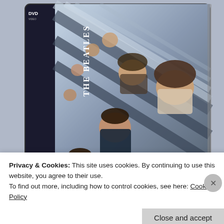[Figure (photo): DVD case of The Beatles showing the band members looking down from above (famous staircase shot), with 'The Beatles' text on the spine and a DVD logo in the top corner. The image is a well-known promotional/album photograph taken from below looking up at the four Beatles on a staircase.]
Privacy & Cookies: This site uses cookies. By continuing to use this website, you agree to their use.
To find out more, including how to control cookies, see here: Cookie Policy
Close and accept